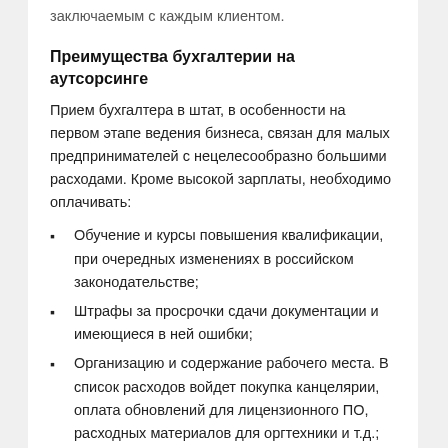заключаемым с каждым клиентом.
Преимущества бухгалтерии на аутсорсинге
Прием бухгалтера в штат, в особенности на первом этапе ведения бизнеса, связан для малых предпринимателей с нецелесообразно большими расходами. Кроме высокой зарплаты, необходимо оплачивать:
Обучение и курсы повышения квалификации, при очередных изменениях в российском законодательстве;
Штрафы за просрочки сдачи документации и имеющиеся в ней ошибки;
Организацию и содержание рабочего места. В список расходов войдет покупка канцелярии, оплата обновлений для лицензионного ПО, расходных материалов для оргтехники и т.д.;
Обязательные отчисления по соц. пакету — больничные, отпускные и т.д.